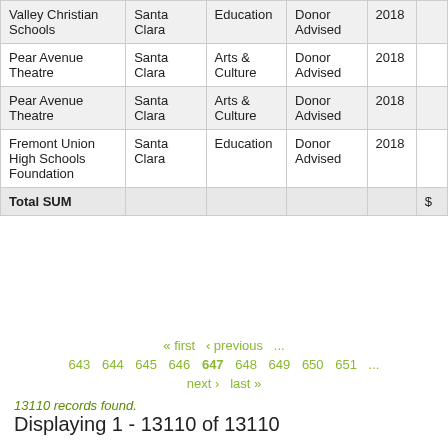|  | Santa Clara | Education / Arts & Culture | Donor Advised | 2018 | $ |
| --- | --- | --- | --- | --- | --- |
| Valley Christian Schools | Santa Clara | Education | Donor Advised | 2018 |  |
| Pear Avenue Theatre | Santa Clara | Arts & Culture | Donor Advised | 2018 |  |
| Pear Avenue Theatre | Santa Clara | Arts & Culture | Donor Advised | 2018 |  |
| Fremont Union High Schools Foundation | Santa Clara | Education | Donor Advised | 2018 |  |
| Total SUM |  |  |  |  | $ |
« first  ‹ previous  ...
643  644  645  646  647  648  649  650  651  ...
next ›  last »
13110 records found.
Displaying 1 - 13110 of 13110